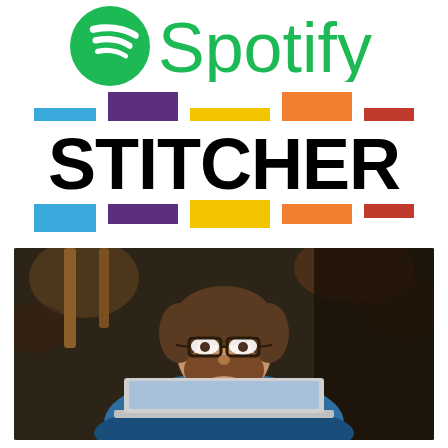[Figure (logo): Spotify logo: green circle with white sound waves icon and 'Spotify' text in green]
[Figure (logo): Stitcher logo: colorful rectangular bars above and below the bold black text 'STITCHER']
[Figure (photo): Man with glasses and beard sitting at laptop, resting chin on fist, looking intently at screen, bokeh background]